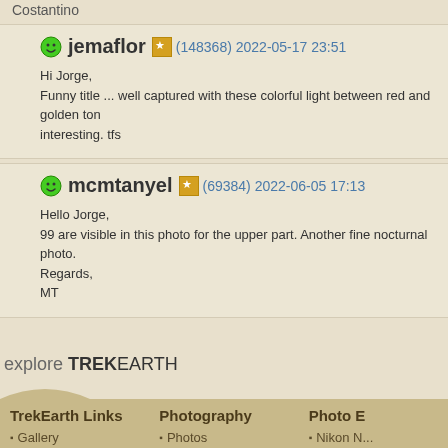Costantino
jemaflor (148368) 2022-05-17 23:51
Hi Jorge,
Funny title ... well captured with these colorful light between red and golden ton... interesting. tfs
mcmtanyel (69384) 2022-06-05 17:13
Hello Jorge,
99 are visible in this photo for the upper part. Another fine nocturnal photo.
Regards,
MT
explore TREKEARTH
TrekEarth Links
Gallery
Forums
Photography
Photos
Critiques
Photo E
Nikon N...
Canon ...